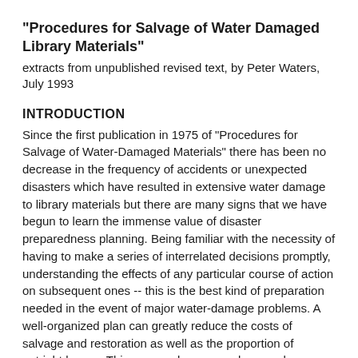"Procedures for Salvage of Water Damaged Library Materials"
extracts from unpublished revised text, by Peter Waters, July 1993
INTRODUCTION
Since the first publication in 1975 of "Procedures for Salvage of Water-Damaged Materials" there has been no decrease in the frequency of accidents or unexpected disasters which have resulted in extensive water damage to library materials but there are many signs that we have begun to learn the immense value of disaster preparedness planning. Being familiar with the necessity of having to make a series of interrelated decisions promptly, understanding the effects of any particular course of action on subsequent ones -- this is the best kind of preparation needed in the event of major water-damage problems. A well-organized plan can greatly reduce the costs of salvage and restoration as well as the proportion of outright losses. This preparedness can also go a long way to lessen the emotional and stressful impact